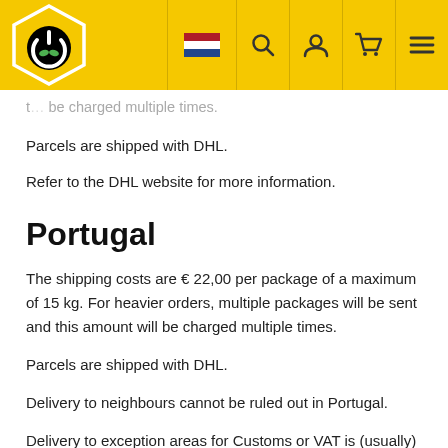Webshop header with logo, Dutch flag, search, account, cart, and menu icons
t… be charged multiple times.
Parcels are shipped with DHL.
Refer to the DHL website for more information.
Portugal
The shipping costs are € 22,00 per package of a maximum of 15 kg. For heavier orders, multiple packages will be sent and this amount will be charged multiple times.
Parcels are shipped with DHL.
Delivery to neighbours cannot be ruled out in Portugal.
Delivery to exception areas for Customs or VAT is (usually) possible, but you cannot order in this webshop. This